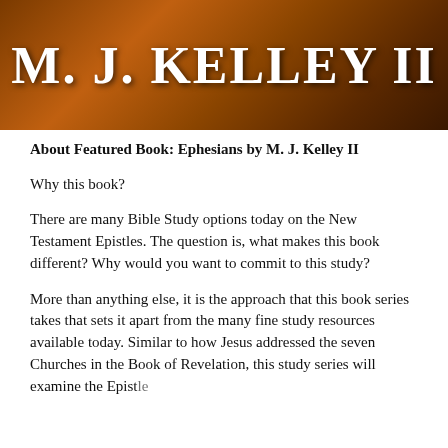[Figure (illustration): Dark brown/orange textured background banner with large white bold serif text reading 'M. J. KELLEY II']
About Featured Book: Ephesians by M. J. Kelley II
Why this book?
There are many Bible Study options today on the New Testament Epistles. The question is, what makes this book different? Why would you want to commit to this study?
More than anything else, it is the approach that this book series takes that sets it apart from the many fine study resources available today. Similar to how Jesus addressed the seven Churches in the Book of Revelation, this study series will examine the Epistle